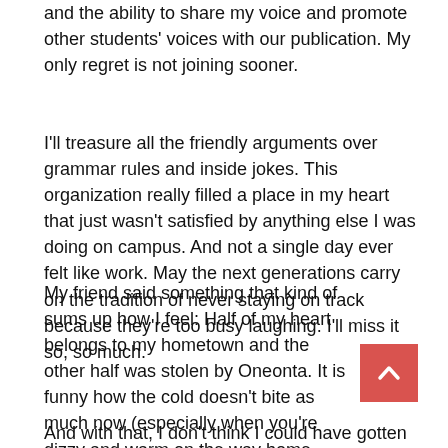and the ability to share my voice and promote other students' voices with our publication. My only regret is not joining sooner.
I'll treasure all the friendly arguments over grammar rules and inside jokes. This organization really filled a place in my heart that just wasn't satisfied by anything else I was doing on campus. And not a single day ever felt like work. May the next generations carry on the tradition of never staying on track because they're too busy laughing. I'll miss it so, so much.
My friend said something that kind of sums up how I feel: Half of my heart belongs to my hometown and the other half was stolen by Oneonta. It is funny how the cold doesn't bite as much now (especially when you're dizzy and warm on the way home from a frat party or the bar). But the hills will always steal my breath, and yet still I'd do anything to walk up a snowy Golding hill on the way to class all over again.
And with that, I don't think I could have gotten any luckier than